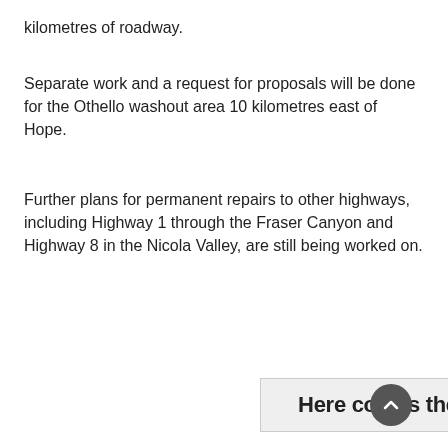kilometres of roadway.
Separate work and a request for proposals will be done for the Othello washout area 10 kilometres east of Hope.
Further plans for permanent repairs to other highways, including Highway 1 through the Fraser Canyon and Highway 8 in the Nicola Valley, are still being worked on.
[Figure (other): Banner advertisement reading 'Here comes the fun!' with a yellow accent bar on the right side, and a circular back-to-top arrow button overlapping the top-right corner of the banner.]